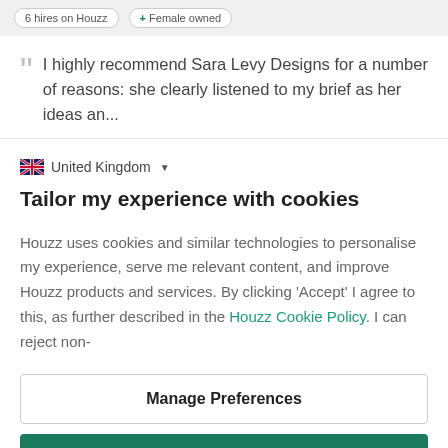6 hires on Houzz  + Female owned
I highly recommend Sara Levy Designs for a number of reasons: she clearly listened to my brief as her ideas an...
United Kingdom
Tailor my experience with cookies
Houzz uses cookies and similar technologies to personalise my experience, serve me relevant content, and improve Houzz products and services. By clicking 'Accept' I agree to this, as further described in the Houzz Cookie Policy. I can reject non-
Manage Preferences
Accept